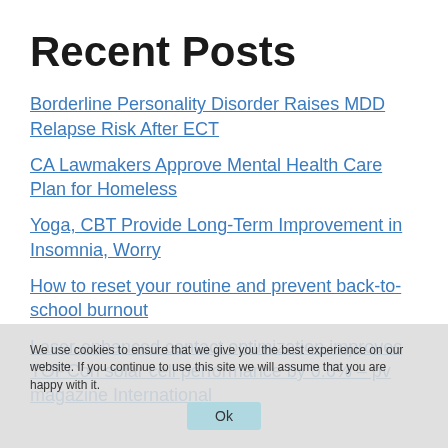Recent Posts
Borderline Personality Disorder Raises MDD Relapse Risk After ECT
CA Lawmakers Approve Mental Health Care Plan for Homeless
Yoga, CBT Provide Long-Term Improvement in Insomnia, Worry
How to reset your routine and prevent back-to-school burnout
Laser-enhanced contact optimization improves TOPCon solar cell performance by 0.6% – pv magazine International
We use cookies to ensure that we give you the best experience on our website. If you continue to use this site we will assume that you are happy with it.
Ok